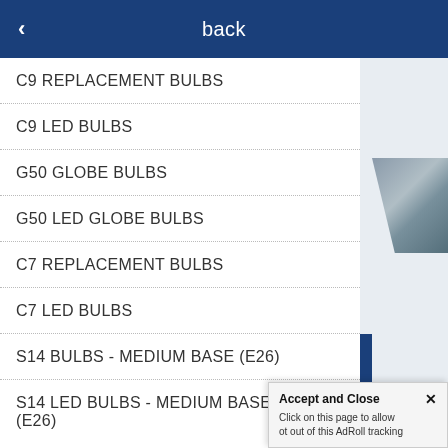back
C9 REPLACEMENT BULBS
C9 LED BULBS
G50 GLOBE BULBS
G50 LED GLOBE BULBS
C7 REPLACEMENT BULBS
C7 LED BULBS
S14 BULBS - MEDIUM BASE (E26)
S14 LED BULBS - MEDIUM BASE (E26)
Accept and Close ✕ Click on this page to allow ot out of this AdRoll tracking